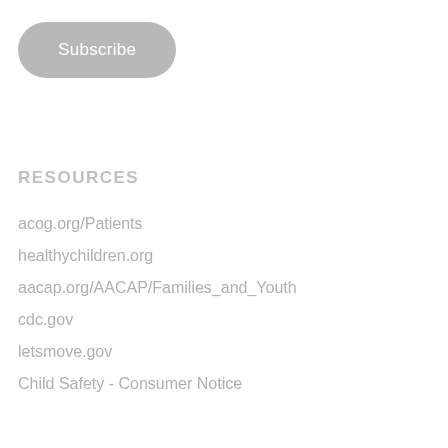[Figure (other): A grey rounded rectangle button labeled 'Subscribe']
RESOURCES
acog.org/Patients
healthychildren.org
aacap.org/AACAP/Families_and_Youth
cdc.gov
letsmove.gov
Child Safety - Consumer Notice